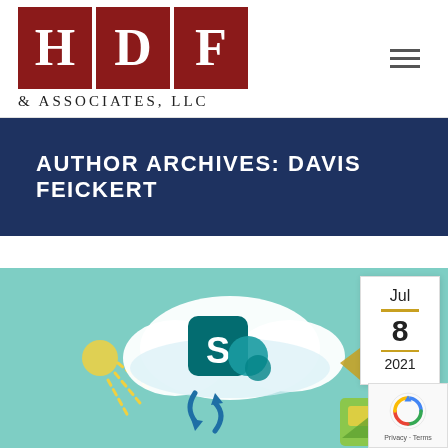HDF & Associates, LLC
AUTHOR ARCHIVES: DAVIS FEICKERT
[Figure (illustration): SharePoint cloud migration illustration on teal background showing SharePoint logo on a cloud, with sync arrows and content icons. Date badge showing Jul 8 2021 in top right corner. reCAPTCHA badge in bottom right.]